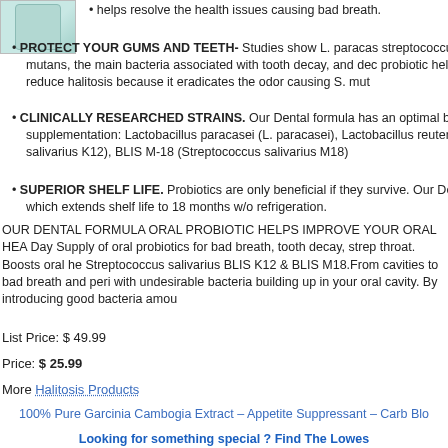[Figure (photo): Product image of a dental probiotic supplement container]
helps resolve the health issues causing bad breath.
PROTECT YOUR GUMS AND TEETH- Studies show L. paracasei streptococcus mutans, the main bacteria associated with tooth decay, and dec probiotic helps reduce halitosis because it eradicates the odor causing S. mut
CLINICALLY RESEARCHED STRAINS. Our Dental formula has an optimal ba supplementation: Lactobacillus paracasei (L. paracasei), Lactobacillus reuteri salivarius K12), BLIS M-18 (Streptococcus salivarius M18)
SUPERIOR SHELF LIFE. Probiotics are only beneficial if they survive. Our De which extends shelf life to 18 months w/o refrigeration.
OUR DENTAL FORMULA ORAL PROBIOTIC HELPS IMPROVE YOUR ORAL HEA Day Supply of oral probiotics for bad breath, tooth decay, strep throat. Boosts oral he Streptococcus salivarius BLIS K12 & BLIS M18.From cavities to bad breath and peri with undesirable bacteria building up in your oral cavity. By introducing good bacteria amou
List Price: $ 49.99
Price: $ 25.99
More Halitosis Products
100% Pure Garcinia Cambogia Extract – Appetite Suppressant – Carb Blo
Looking for something special ? Find The Lowes